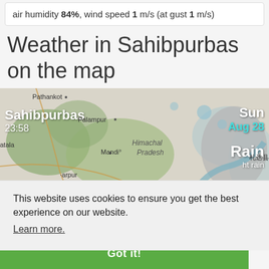air humidity 84%, wind speed 1 m/s (at gust 1 m/s)
Weather in Sahibpurbas on the map
[Figure (map): Map showing Sahibpurbas region in Himachal Pradesh, India. Overlaid weather info: City: Sahibpurbas, Time: 23:58, Day: Sun, Date: Aug 28, Condition: Rain, light rain, Temperature: 27°. Map labels: Pathankot, Palampur, Himachal Pradesh, Mandi, Sharpur, Atala, Japanese text (Sapporo), Muzaffarnagar, Bageshwar.]
This website uses cookies to ensure you get the best experience on our website.
Learn more.
Got it!